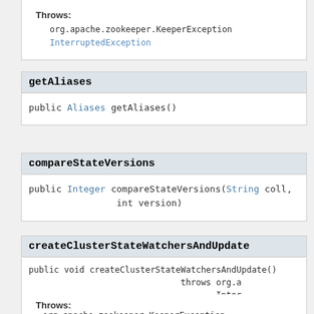Throws:
org.apache.zookeeper.KeeperException
InterruptedException
getAliases
public Aliases getAliases()
compareStateVersions
public Integer compareStateVersions(String coll,
                                int version)
createClusterStateWatchersAndUpdate
public void createClusterStateWatchersAndUpdate()
                                      throws org.a
                                             Inter
Throws:
org.apache.zookeeper.KeeperException